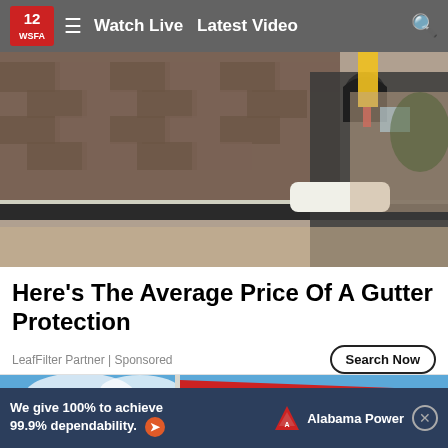12 WSFA  ≡  Watch Live  Latest Video  🔍
[Figure (photo): Worker in dark jacket and gloves installing or cleaning gutters on a residential rooftop, holding tools, with brick house and fence visible in background]
Here's The Average Price Of A Gutter Protection
LeafFilter Partner | Sponsored
[Figure (photo): Red flag with golden eagle emblem waving on a flagpole against a bright blue sky with white clouds]
[Figure (infographic): Alabama Power advertisement banner: 'We give 100% to achieve 99.9% dependability.' with Alabama Power logo and orange arrow button]